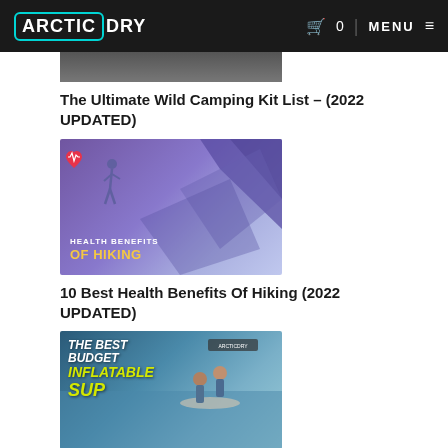ARCTIC DRY | 0 | MENU
[Figure (photo): Partial thumbnail image at top (cropped) - dark background]
The Ultimate Wild Camping Kit List – (2022 UPDATED)
[Figure (illustration): Health Benefits of Hiking blog thumbnail - purple/blue background with heart icon and hiker silhouette, text reads HEALTH BENEFITS OF HIKING]
10 Best Health Benefits Of Hiking (2022 UPDATED)
[Figure (photo): The Best Budget Inflatable SUP thumbnail - two people on a paddleboard on water, text reads THE BEST BUDGET INFLATABLE SUP]
The Best Budget Inflatable SUP UK (2022 Guide)
[Figure (photo): Partial thumbnail image at bottom (cropped)]